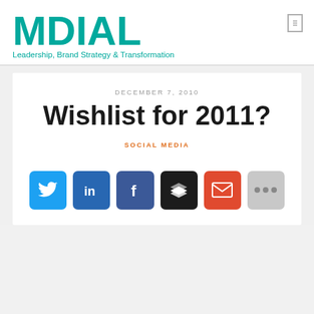[Figure (logo): MDIAL logo in teal/green color, large bold text]
Leadership, Brand Strategy & Transformation
DECEMBER 7, 2010
Wishlist for 2011?
SOCIAL MEDIA
[Figure (infographic): Row of 6 social sharing icon buttons: Twitter (blue), LinkedIn (blue), Facebook (dark blue), Buffer (black), Email (red-orange), More/ellipsis (gray)]